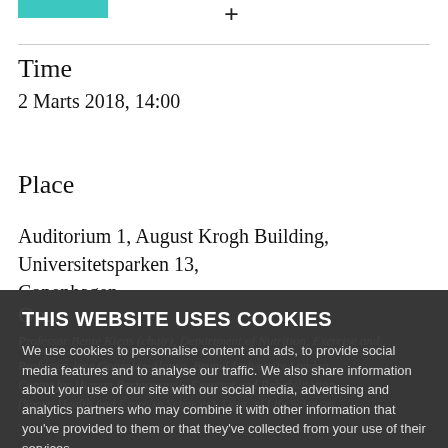[teal bar] [plus symbol]
Time
2 Marts 2018,  14:00
Place
Auditorium 1, August Krogh Building, Universitetsparken 13, Copenhagen
Op…
Professor Bente Kiens (chair), Department of Nutrition, Exercise and…
Professor Jose Gonzalez-Alonso, Brunel University London, Centre for Human Performance, Exercise and Rehabilitation (Sport, Health and Exercise Sciences), Dept. of Life Sciences,
THIS WEBSITE USES COOKIES
We use cookies to personalise content and ads, to provide social media features and to analyse our traffic. We also share information about your use of our site with our social media, advertising and analytics partners who may combine it with other information that you've provided to them or that they've collected from your use of their services.